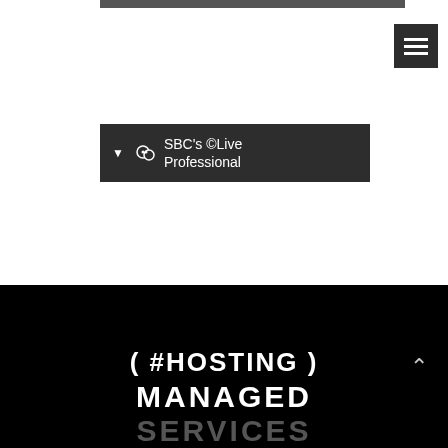[Figure (screenshot): Top partial image bar — dark gray horizontal strip at top]
[Figure (other): Hamburger menu button — dark square with three white horizontal lines]
[Figure (other): Dark button with chat icon, dropdown arrow, and text: SBC's ©Live Professional]
( #HOSTING ) MANAGED SERVICES